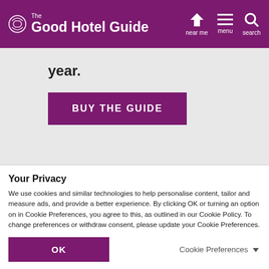The Good Hotel Guide — near me | menu | search
year.
BUY THE GUIDE
JOIN THE GHG
Your Privacy
We use cookies and similar technologies to help personalise content, tailor and measure ads, and provide a better experience. By clicking OK or turning an option on in Cookie Preferences, you agree to this, as outlined in our Cookie Policy. To change preferences or withdraw consent, please update your Cookie Preferences.
OK
Cookie Preferences